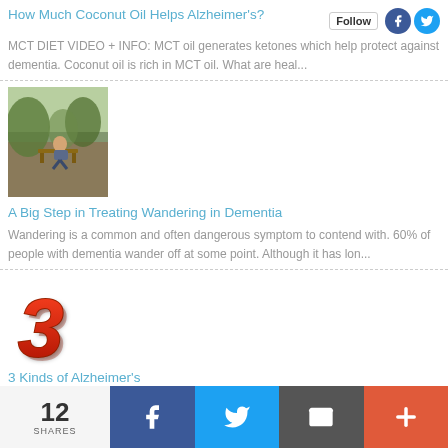How Much Coconut Oil Helps Alzheimer's?
MCT DIET VIDEO + INFO: MCT oil generates ketones which help protect against dementia. Coconut oil is rich in MCT oil. What are heal...
[Figure (photo): Person sitting on a bench outdoors in a green park setting]
A Big Step in Treating Wandering in Dementia
Wandering is a common and often dangerous symptom to contend with. 60% of people with dementia wander off at some point. Although it has lon...
[Figure (illustration): Large red 3D number '3' in bold italic red font]
3 Kinds of Alzheimer's
UNDERSTANDING ALZHEIMER'S Until now, Alzheimer's was thought to be a single disease. Advanced research is redefining Alzheimer'...
12 SHARES | Facebook | Twitter | Email | More